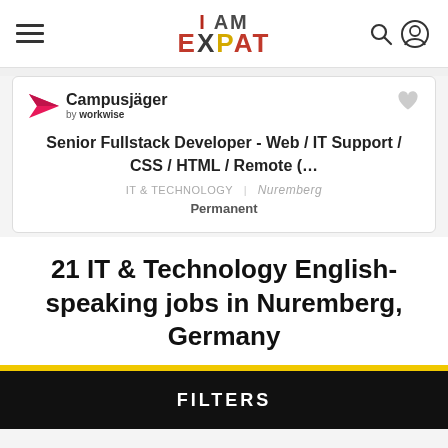I AM EXPAT
[Figure (logo): Campusjäger by workwise logo with pink paper-plane icon]
Senior Fullstack Developer - Web / IT Support / CSS / HTML / Remote (…
IT & TECHNOLOGY | Nuremberg
Permanent
21 IT & Technology English-speaking jobs in Nuremberg, Germany
FILTERS